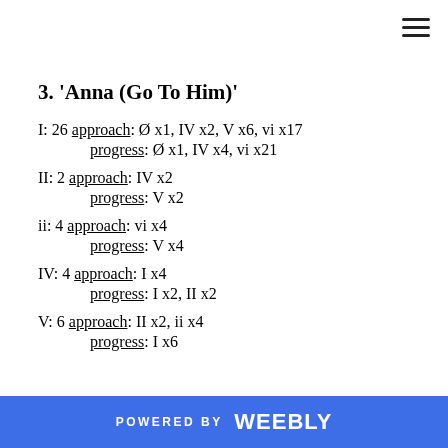3. 'Anna (Go To Him)'
I: 26 approach: Ø x1, IV x2, V x6, vi x17
progress: Ø x1, IV x4, vi x21
II: 2 approach: IV x2
progress: V x2
ii: 4 approach: vi x4
progress: V x4
IV: 4 approach: I x4
progress: I x2, II x2
V: 6 approach: II x2, ii x4
progress: I x6
POWERED BY weebly